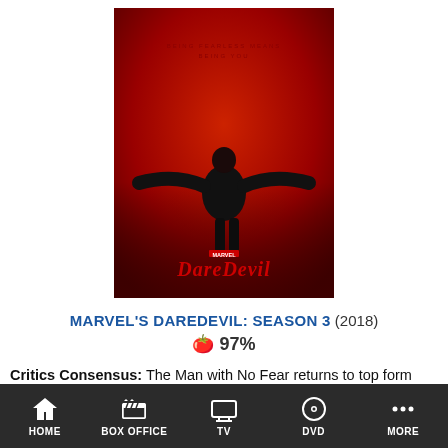[Figure (photo): Daredevil Season 3 promotional poster showing a figure with arms outstretched against a red background with DAREDEVIL text at the bottom]
MARVEL'S DAREDEVIL: SEASON 3 (2018)
🍅 97%
Critics Consensus: The Man with No Fear returns to top form with a third season that begins tediously slow but gradually generates comic book thrills, immeasurably helped by the welcome return of
HOME | BOX OFFICE | TV | DVD | MORE